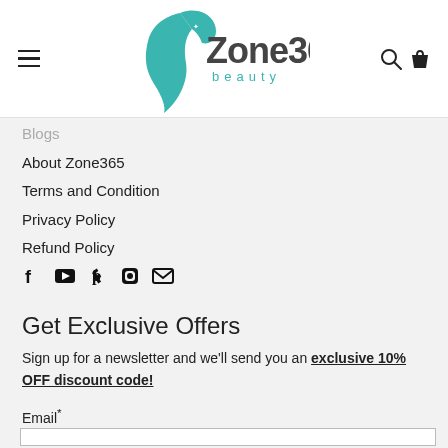[Figure (logo): Zone365 beauty logo with teal face silhouette and stylized text]
Blogs
About Zone365
Terms and Condition
Privacy Policy
Refund Policy
[Figure (infographic): Social media icons: Facebook, YouTube, Pinterest, Instagram, Email]
Get Exclusive Offers
Sign up for a newsletter and we'll send you an exclusive 10% OFF discount code!
Email*